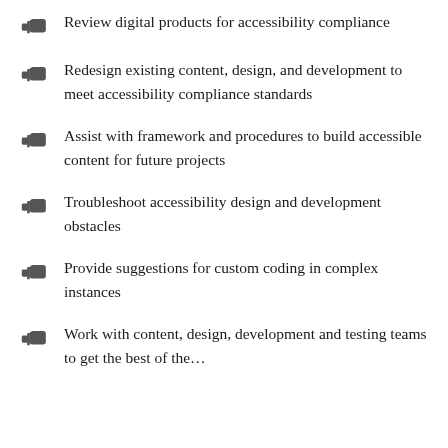Review digital products for accessibility compliance
Redesign existing content, design, and development to meet accessibility compliance standards
Assist with framework and procedures to build accessible content for future projects
Troubleshoot accessibility design and development obstacles
Provide suggestions for custom coding in complex instances
Work with content, design, development and testing teams to get the best of the…